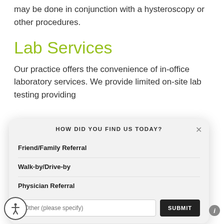may be done in conjunction with a hysteroscopy or other procedures.
Lab Services
Our practice offers the convenience of in-office laboratory services. We provide limited on-site lab testing providing
HOW DID YOU FIND US TODAY?
Friend/Family Referral
Walk-by/Drive-by
Physician Referral